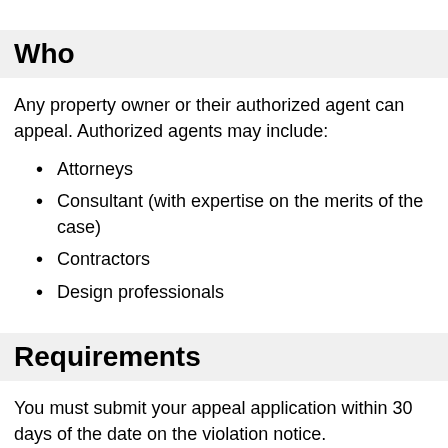Who
Any property owner or their authorized agent can appeal. Authorized agents may include:
Attorneys
Consultant (with expertise on the merits of the case)
Contractors
Design professionals
Requirements
You must submit your appeal application within 30 days of the date on the violation notice.
To request a variance without first getting a violation